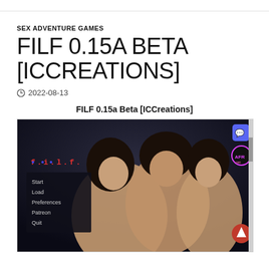SEX ADVENTURE GAMES
FILF 0.15A BETA [ICCREATIONS]
2022-08-13
FILF 0.15a Beta [ICCreations]
[Figure (screenshot): Game screenshot showing the FILF game title screen with three female characters and a menu showing Start, Load, Preferences, Patreon, Quit options. Discord badge and site badge visible on right side.]